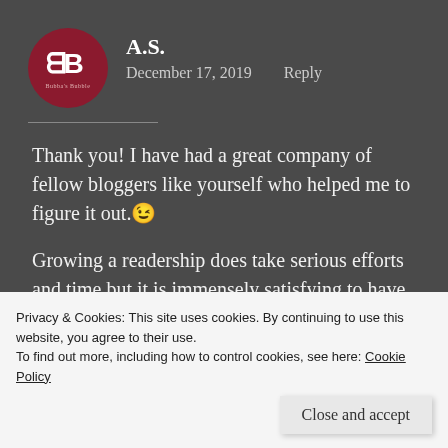[Figure (logo): Circular avatar/logo for Bubba's Bubble blog, dark red background with white 'BB' initials and site name below]
A.S.
December 17, 2019    Reply
Thank you! I have had a great company of fellow bloggers like yourself who helped me to figure it out. 😉
Growing a readership does take serious efforts and time but it is immensely satisfying to have especially when it grows into a
Privacy & Cookies: This site uses cookies. By continuing to use this website, you agree to their use.
To find out more, including how to control cookies, see here: Cookie Policy
Close and accept